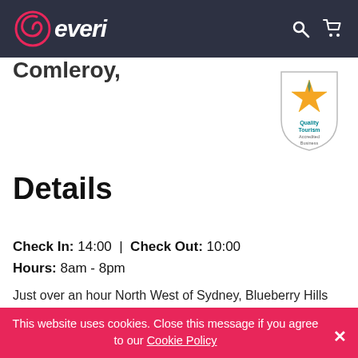everi (logo)
Comleroy
[Figure (logo): Quality Tourism Accredited Business badge/shield with star logo]
Details
Check In: 14:00  |  Check Out: 10:00
Hours: 8am - 8pm
Just over an hour North West of Sydney, Blueberry Hills on Comleroy is a rural retreat nestled between the foothills of the Blue Mountains and the Wollemi
This website uses cookies. Close this message if you agree to our Cookie Policy